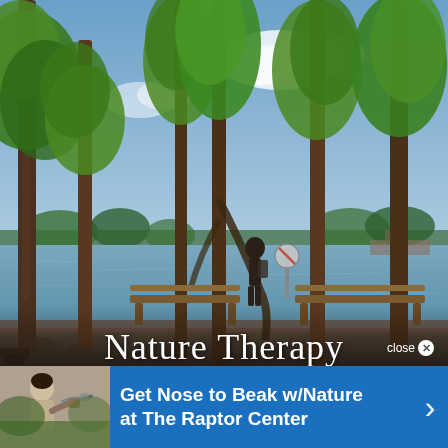[Figure (photo): Outdoor nature scene showing tall trees beside a lake or river, with a person standing near a wooden bench looking out at the water. Sky is partly cloudy. Lush green trees frame the scene.]
Nature Therapy
close ✕
[Figure (photo): Small thumbnail photo of a person holding a bird of prey (hawk or falcon) on their gloved hand, used as banner image for The Raptor Center advertisement.]
Get Nose to Beak w/Nature at The Raptor Center